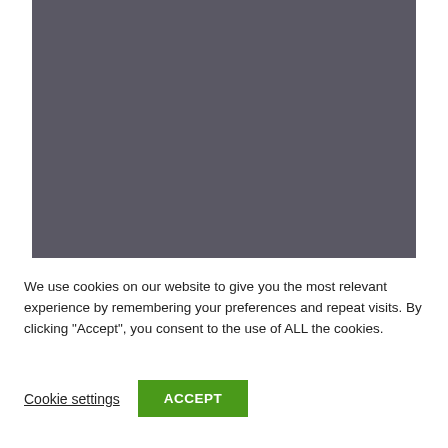[Figure (photo): A large grey/dark slate colored rectangular image area, content not visible]
We use cookies on our website to give you the most relevant experience by remembering your preferences and repeat visits. By clicking “Accept”, you consent to the use of ALL the cookies.
Cookie settings
ACCEPT